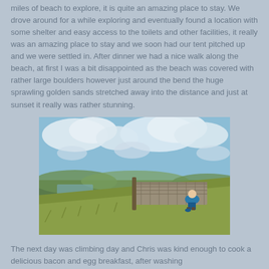miles of beach to explore, it is quite an amazing place to stay. We drove around for a while exploring and eventually found a location with some shelter and easy access to the toilets and other facilities, it really was an amazing place to stay and we soon had our tent pitched up and we were settled in. After dinner we had a nice walk along the beach, at first I was a bit disappointed as the beach was covered with rather large boulders however just around the bend the huge sprawling golden sands stretched away into the distance and just at sunset it really was rather stunning.
[Figure (photo): A person crouching on a grassy hillside next to a dry stone wall with a fence post. The sky is blue with large white clouds. Green valley and water visible in the background distance.]
The next day was climbing day and Chris was kind enough to cook a delicious bacon and egg breakfast, after washing